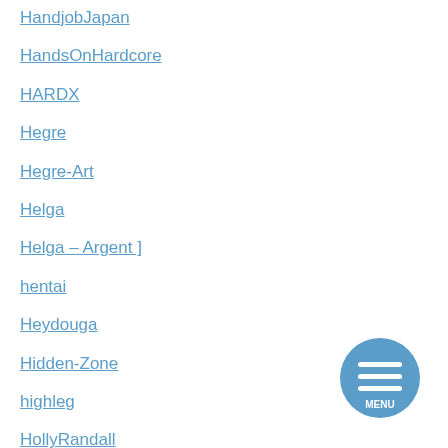HandjobJapan
HandsOnHardcore
HARDX
Hegre
Hegre-Art
Helga
Helga – Argent ]
hentai
Heydouga
Hidden-Zone
highleg
HollyRandall
[Figure (illustration): Circular blue MENU button with three horizontal white lines icon]